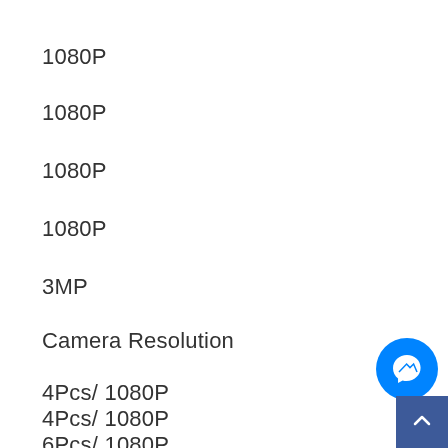1080P
1080P
1080P
1080P
3MP
Camera Resolution
4Pcs/ 1080P
4Pcs/ 1080P
6Pcs/ 1080P